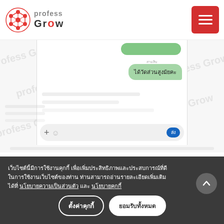[Figure (screenshot): Progress Grow website header with logo and red hamburger menu button]
[Figure (screenshot): Chat application screenshot showing a green message bubble with Thai text 'ได้วัดส่วนสูงม้ยคะ' and a chat input bar with blue send button. Watermarked with 'profess grow' text overlay.]
เว็บไซต์นี้มีการใช้งานคุกกี้ เพื่อเพิ่มประสิทธิภาพและประสบการณ์ที่ดีในการใช้งานเว็บไซต์ของท่าน ท่านสามารถอ่านรายละเอียดเพิ่มเติมได้ที่ นโยบายความเป็นส่วนตัว และ นโยบายคุกกี้
ตั้งค่าคุกกี้
ยอมรับทั้งหมด